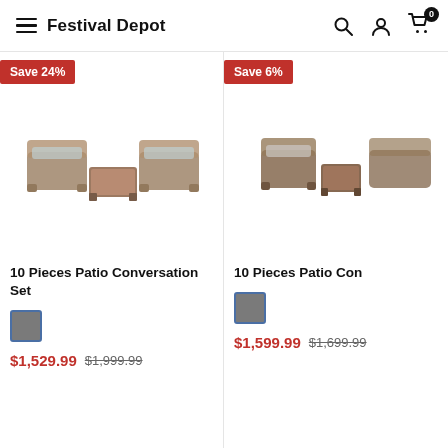Festival Depot
[Figure (photo): 10 Pieces Patio Conversation Set - wicker/rattan outdoor furniture set with sofas and coffee table, brown with grey cushions. Save 24% badge shown.]
10 Pieces Patio Conversation Set
$1,529.99  $1,999.99
[Figure (photo): 10 Pieces Patio Conversation Set - wicker/rattan outdoor furniture, partially visible. Save 6% badge shown.]
10 Pieces Patio Con
$1,599.99  $1,699.99